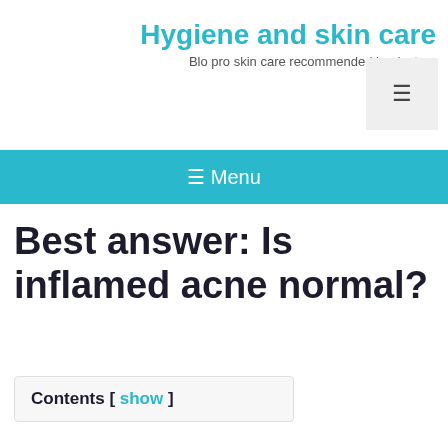Hygiene and skin care
Blo pro skin care recommended by doctors
≡ Menu
Best answer: Is inflamed acne normal?
Contents [ show ]